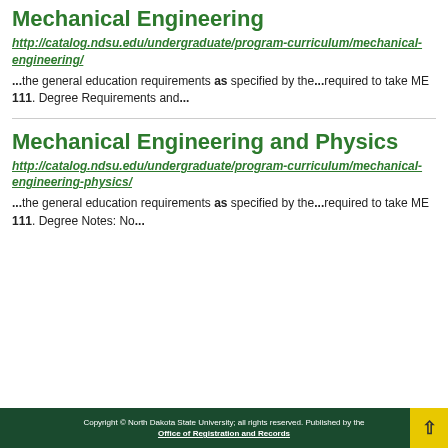Mechanical Engineering
http://catalog.ndsu.edu/undergraduate/program-curriculum/mechanical-engineering/
...the general education requirements as specified by the...required to take ME 111. Degree Requirements and...
Mechanical Engineering and Physics
http://catalog.ndsu.edu/undergraduate/program-curriculum/mechanical-engineering-physics/
...the general education requirements as specified by the...required to take ME 111. Degree Notes: No...
Copyright © North Dakota State University; all rights reserved. Published by the Office of Registration and Records